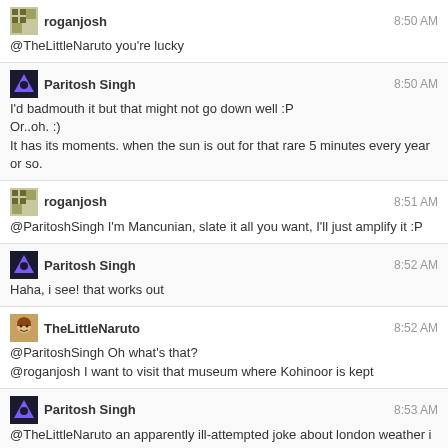roganjosh — 8:50 AM — @TheLittleNaruto you're lucky
Paritosh Singh — 8:50 AM — I'd badmouth it but that might not go down well :P Or..oh. :) It has its moments. when the sun is out for that rare 5 minutes every year or so.
roganjosh — 8:51 AM — @ParitoshSingh I'm Mancunian, slate it all you want, I'll just amplify it :P
Paritosh Singh — 8:52 AM — Haha, i see! that works out
TheLittleNaruto — 8:52 AM — @ParitoshSingh Oh what's that? @roganjosh I want to visit that museum where Kohinoor is kept
Paritosh Singh — 8:53 AM — @TheLittleNaruto an apparently ill-attempted joke about london weather i suppose :P
MisterMiyagi — 8:53 AM — @roganjosh Union[LOL, WAT]
roganjosh — 8:54 AM — @TheLittleNaruto That's the Tower of London, isn't it?